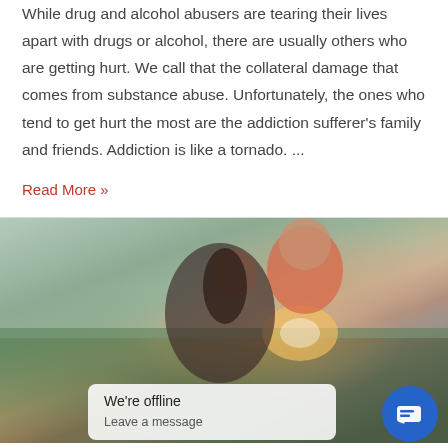While drug and alcohol abusers are tearing their lives apart with drugs or alcohol, there are usually others who are getting hurt. We call that the collateral damage that comes from substance abuse. Unfortunately, the ones who tend to get hurt the most are the addiction sufferer's family and friends. Addiction is like a tornado. ...
Read More »
[Figure (photo): A smiling couple embracing outdoors. A man in a salmon/coral polo shirt laughing joyfully while a woman with long dark hair leans into him. Outdoor scenery with green fields in the background. A chat widget overlay reads 'We're offline / Leave a message' with a blue chat button in the bottom right.]